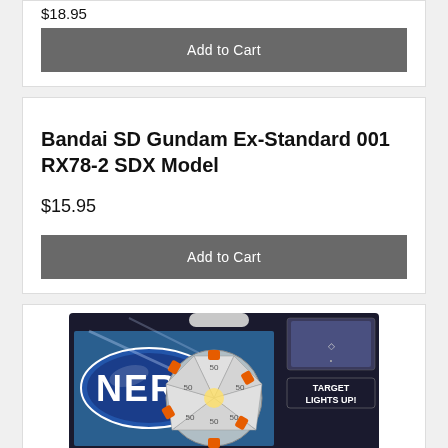$18.95
Add to Cart
Bandai SD Gundam Ex-Standard 001 RX78-2 SDX Model
$15.95
Add to Cart
[Figure (photo): NERF target product in retail packaging, showing a circular electronic target with 'TARGET LIGHTS UP' text, blue and orange design with triangular sections.]